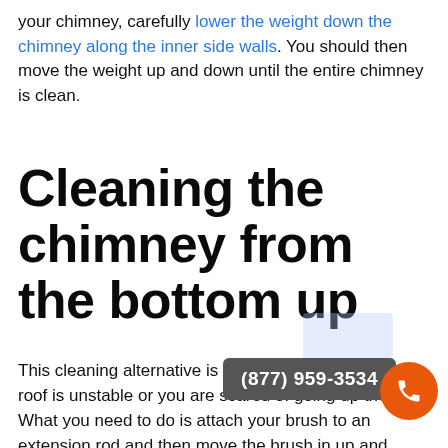your chimney, carefully lower the weight down the chimney along the inner side walls. You should then move the weight up and down until the entire chimney is clean.
Cleaning the chimney from the bottom up
This cleaning alternative is recommended when the roof is unstable or you are scared of going up the roof. What you need to do is attach your brush to an extension rod and then move the brush in up and down motions while scrubbing clean the chimney. If your